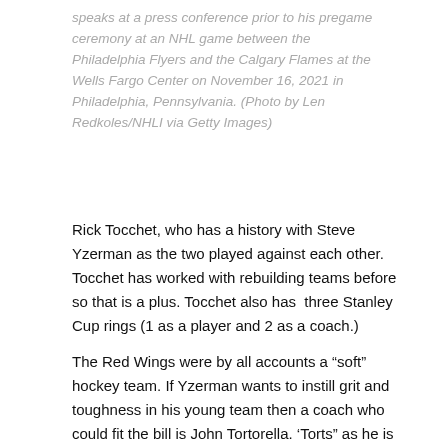speaks at a press conference prior to his pregame ceremony at an NHL game between the Philadelphia Flyers and the Calgary Flames at the Wells Fargo Center on November 16, 2021 in Philadelphia, Pennsylvania. (Photo by Len Redkoles/NHLI via Getty Images)
Rick Tocchet, who has a history with Steve Yzerman as the two played against each other. Tocchet has worked with rebuilding teams before so that is a plus. Tocchet also has  three Stanley Cup rings (1 as a player and 2 as a coach.)
The Red Wings were by all accounts a “soft” hockey team. If Yzerman wants to instill grit and toughness in his young team then a coach who could fit the bill is John Tortorella. ‘Torts” as he is known as, is abrasive and demanding which is why he has enjoyed success. Tortorella has finished .500 with every team he has